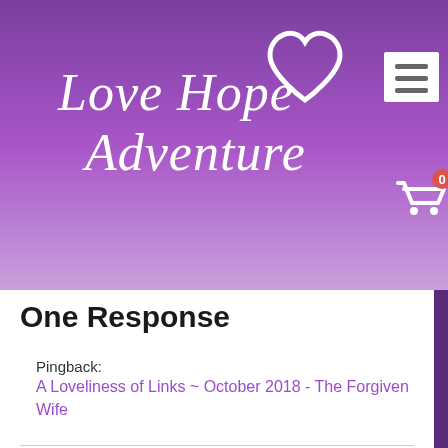[Figure (logo): Love Hope Adventure website header with purple gradient background, cursive white logo text, hamburger menu button, and shopping cart icon with badge showing 0]
One Response
Pingback: A Loveliness of Links ~ October 2018 - The Forgiven Wife
Leave a Reply
Your email address will not be published. Required fields are marked *